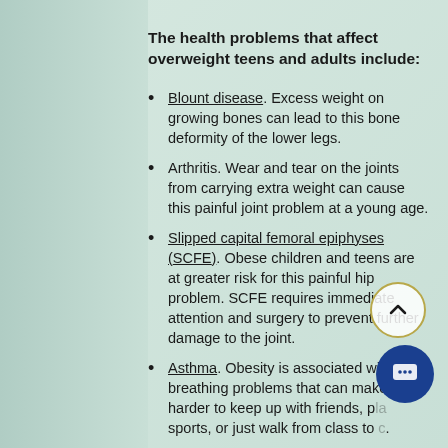The health problems that affect overweight teens and adults include:
Blount disease. Excess weight on growing bones can lead to this bone deformity of the lower legs.
Arthritis. Wear and tear on the joints from carrying extra weight can cause this painful joint problem at a young age.
Slipped capital femoral epiphyses (SCFE). Obese children and teens are at greater risk for this painful hip problem. SCFE requires immediate attention and surgery to prevent further damage to the joint.
Asthma. Obesity is associated with breathing problems that can make it harder to keep up with friends, play sports, or just walk from class to class.
Sleep apnea. This condition (where a